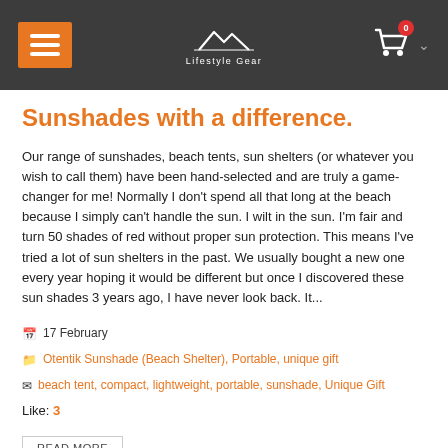Lifestyle Gear — navigation header with menu, logo, and cart
Sunshades with a difference.
Our range of sunshades, beach tents, sun shelters (or whatever you wish to call them) have been hand-selected and are truly a game-changer for me! Normally I don't spend all that long at the beach because I simply can't handle the sun. I wilt in the sun. I'm fair and turn 50 shades of red without proper sun protection. This means I've tried a lot of sun shelters in the past. We usually bought a new one every year hoping it would be different but once I discovered these sun shades 3 years ago, I have never look back. It...
17 February
Otentik Sunshade (Beach Shelter), Portable, unique gift
beach tent, compact, lightweight, portable, sunshade, Unique Gift
Like: 3
READ MORE